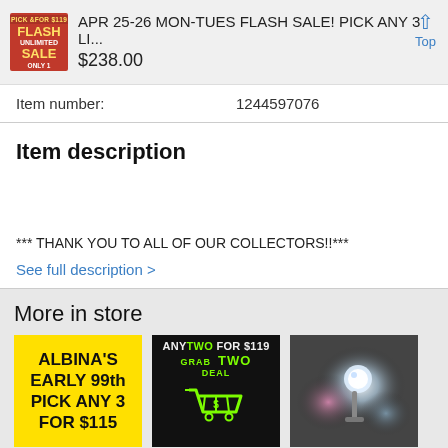APR 25-26 MON-TUES FLASH SALE! PICK ANY 3 LI... $238.00
| Item number: | 1244597076 |
| --- | --- |
Item description
*** THANK YOU TO ALL OF OUR COLLECTORS!!***
See full description >
More in store
[Figure (photo): Yellow background store item: ALBINA'S EARLY 99th PICK ANY 3 FOR $115]
[Figure (photo): Black background store item: ANY TWO FOR $119 GRAB TWO DEAL with shopping cart icon]
[Figure (photo): Photo of decorative item with glowing orb against dark background]